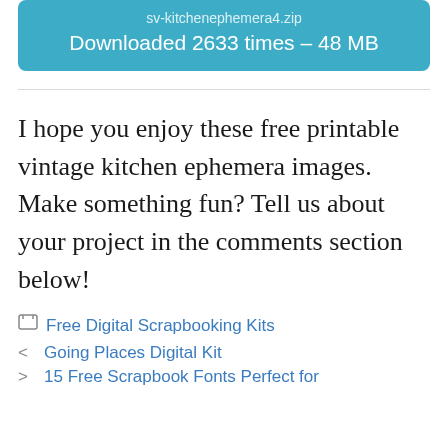[Figure (other): Teal/blue rounded download box showing filename 'sv-kitchenephemera4.zip' and 'Downloaded 2633 times – 48 MB']
I hope you enjoy these free printable vintage kitchen ephemera images. Make something fun? Tell us about your project in the comments section below!
Free Digital Scrapbooking Kits
< Going Places Digital Kit
> 15 Free Scrapbook Fonts Perfect for